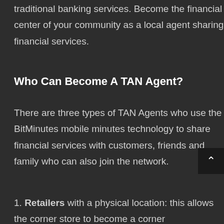financial services to communities that lack traditional banking services. Become the financial center of your community as a local agent sharing financial services.
Who Can Become A TAN Agent?
There are three types of TAN Agents who use the BitMinutes mobile minutes technology to share financial services with customers, friends and family who can also join the network.
1. Retailers with a physical location: this allows the corner store to become a corner